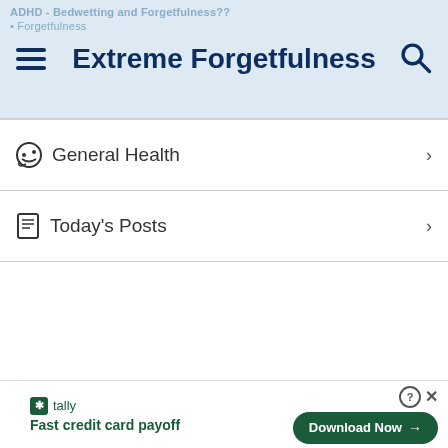Extreme Forgetfulness
General Health
Today's Posts
[Figure (screenshot): Advertisement banner for Tally app with 'Fast credit card payoff' tagline and 'Download Now' button]